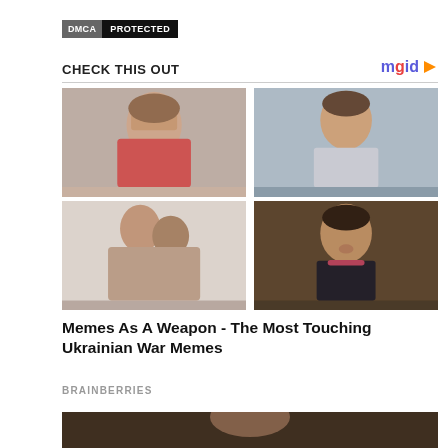[Figure (logo): DMCA PROTECTED badge with grey and black background]
CHECK THIS OUT
[Figure (logo): mgid logo with orange play button]
[Figure (photo): 2x2 grid of photos: top-left woman covering eyes, top-right man thinking, bottom-left people hugging, bottom-right man in suit surprised expression]
Memes As A Weapon - The Most Touching Ukrainian War Memes
BRAINBERRIES
[Figure (photo): Partial photo at bottom of page showing person]